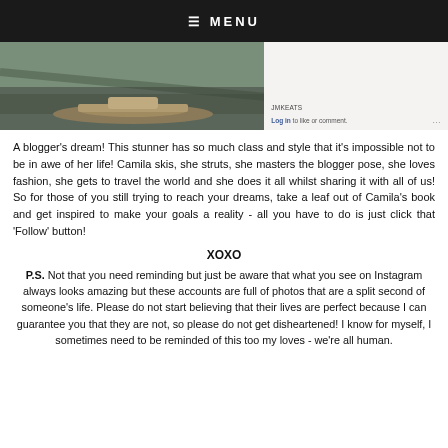≡ MENU
[Figure (photo): Left: outdoor photo showing a straw hat and ground/shadow. Right: Instagram-style panel with likes count and log in to like or comment prompt.]
A blogger's dream! This stunner has so much class and style that it's impossible not to be in awe of her life! Camila skis, she struts, she masters the blogger pose, she loves fashion, she gets to travel the world and she does it all whilst sharing it with all of us! So for those of you still trying to reach your dreams, take a leaf out of Camila's book and get inspired to make your goals a reality - all you have to do is just click that 'Follow' button!
XOXO
P.S. Not that you need reminding but just be aware that what you see on Instagram always looks amazing but these accounts are full of photos that are a split second of someone's life. Please do not start believing that their lives are perfect because I can guarantee you that they are not, so please do not get disheartened! I know for myself, I sometimes need to be reminded of this too my loves - we're all human.